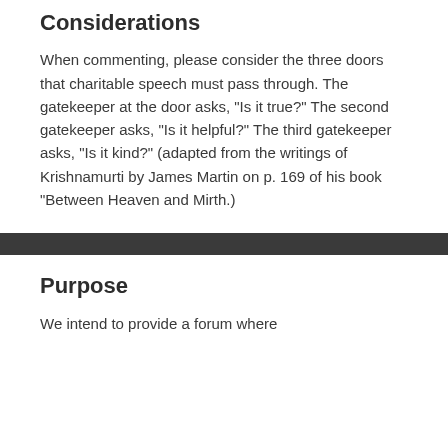Considerations
When commenting, please consider the three doors that charitable speech must pass through. The gatekeeper at the door asks, "Is it true?" The second gatekeeper asks, "Is it helpful?" The third gatekeeper asks, "Is it kind?" (adapted from the writings of Krishnamurti by James Martin on p. 169 of his book "Between Heaven and Mirth.)
Purpose
We intend to provide a forum where